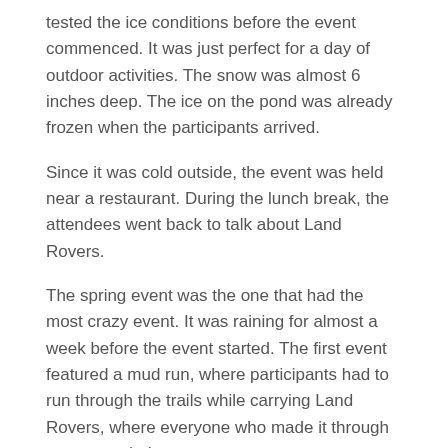tested the ice conditions before the event commenced. It was just perfect for a day of outdoor activities. The snow was almost 6 inches deep. The ice on the pond was already frozen when the participants arrived.
Since it was cold outside, the event was held near a restaurant. During the lunch break, the attendees went back to talk about Land Rovers.
The spring event was the one that had the most crazy event. It was raining for almost a week before the event started. The first event featured a mud run, where participants had to run through the trails while carrying Land Rovers, where everyone who made it through was rewarded.
The second event featured a mud hill climb, and some of the Land Rovers got stuck. The other vehicles were able to pull themselves out of the mud. About half of the Land Rovers that were in attendance were able to make it up the hill. Fortunately,